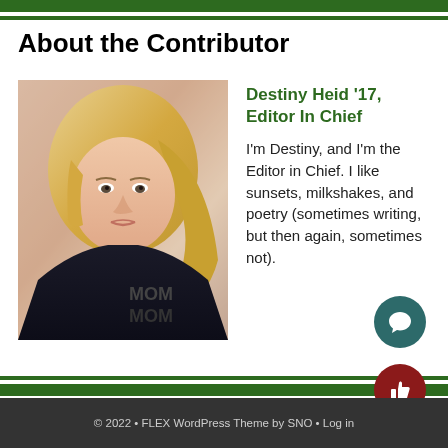About the Contributor
[Figure (photo): Selfie photo of a young blonde woman wearing a dark t-shirt with reversed text, taken indoors]
Destiny Heid '17, Editor In Chief
I'm Destiny, and I'm the Editor in Chief. I like sunsets, milkshakes, and poetry (sometimes writing, but then again, sometimes not).
© 2022 • FLEX WordPress Theme by SNO • Log in